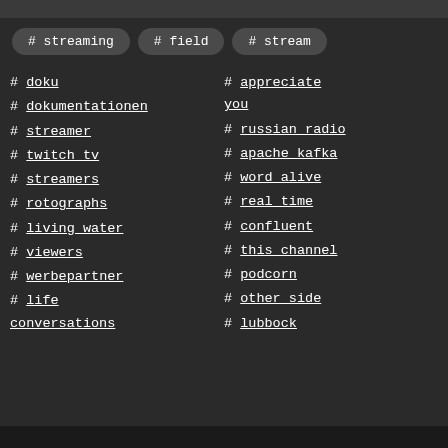# streaming
# field
# stream
# doku
# dokumentationen
# streamer
# twitch tv
# streamers
# rotographs
# living water
# viewers
# werbepartner
# life conversations
# appreciate you
# russian radio
# apache kafka
# word alive
# real time
# confluent
# this channel
# podcorn
# other side
# lubbock